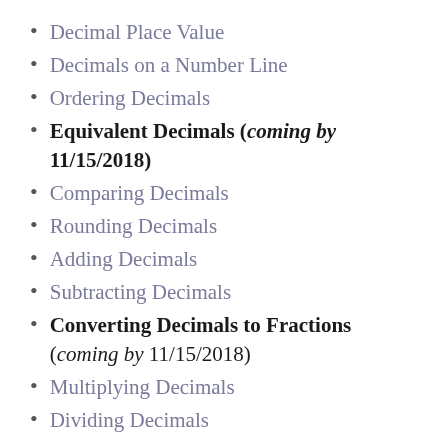Decimal Place Value
Decimals on a Number Line
Ordering Decimals
Equivalent Decimals (coming by 11/15/2018)
Comparing Decimals
Rounding Decimals
Adding Decimals
Subtracting Decimals
Converting Decimals to Fractions (coming by 11/15/2018)
Multiplying Decimals
Dividing Decimals
★★Retail Value when Complete: $36; Price will Increase as more are added.★★